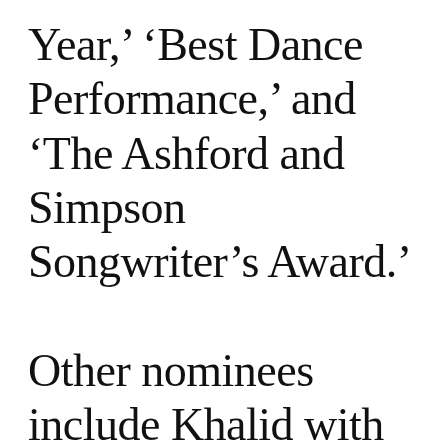Year,' 'Best Dance Performance,' and 'The Ashford and Simpson Songwriter's Award.' Other nominees include Khalid with five nods, J. Cole who